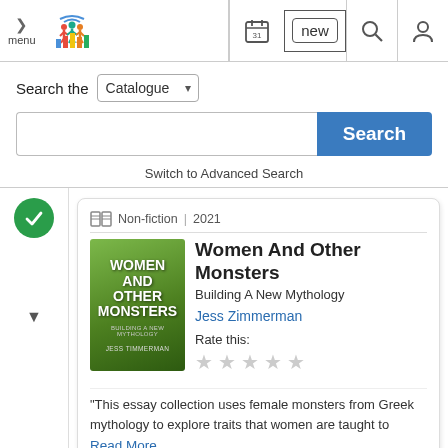menu | Library logo | [calendar icon] 31 | new | search icon | user icon
Search the Catalogue
Search
Switch to Advanced Search
[Figure (screenshot): Book search result card for 'Women And Other Monsters: Building A New Mythology' by Jess Zimmerman, Non-fiction, 2021, with 5-star rating widget and excerpt beginning 'This essay collection uses female monsters from Greek mythology to explore traits that women are taught to']
"This essay collection uses female monsters from Greek mythology to explore traits that women are taught to
Read More